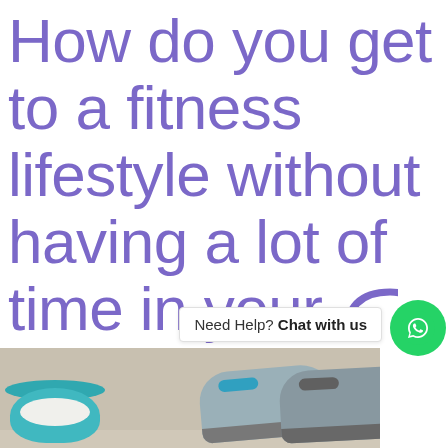How do you get to a fitness lifestyle without having a lot of time in your day?
[Figure (other): WhatsApp chat widget with 'Need Help? Chat with us' text and green WhatsApp button, plus partial headphone/chat icon in purple]
[Figure (photo): Photo strip showing a teal bowl and athletic shoes (sneakers) on a wooden floor surface]